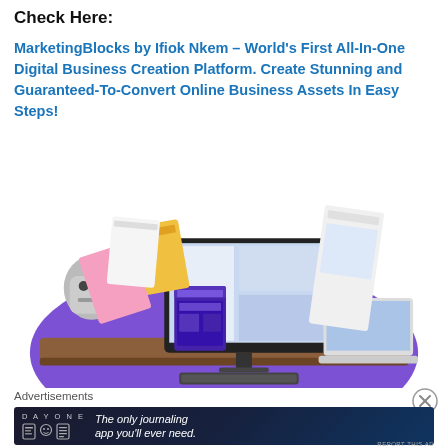Check Here:
MarketingBlocks by Ifiok Nkem – World's First All-In-One Digital Business Creation Platform. Create Stunning and Guaranteed-To-Convert Online Business Assets In Easy Steps!
[Figure (illustration): Product marketing image showing a desktop computer, laptop, robot character, software box, and various digital marketing assets on a desk with purple background]
Advertisements
[Figure (illustration): Day One journaling app advertisement banner with dark background showing icons and text 'The only journaling app you'll ever need.']